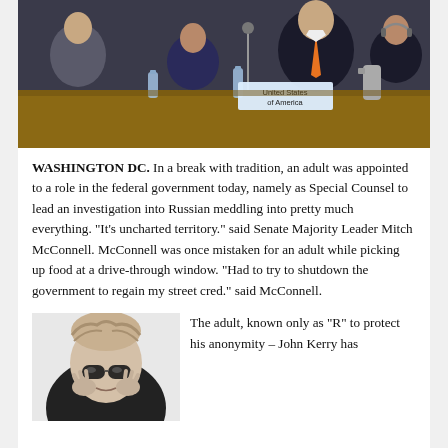[Figure (photo): Conference room photo showing delegates seated at a table with a 'United States of America' nameplate visible. A man in a dark suit with an orange tie is prominent.]
WASHINGTON DC.  In a break with tradition, an adult was appointed to a role in the federal government today, namely as Special Counsel to lead an investigation into Russian meddling into pretty much everything. “It’s uncharted territory.” said Senate Majority Leader Mitch McConnell.  McConnell was once mistaken for an adult while picking up food at a drive-through window.  “Had to try to shutdown the government to regain my street cred.” said McConnell.
[Figure (photo): Black and white photo of a man with sunglasses and tousled hair, hands raised near his face.]
The adult, known only as “R” to protect his anonymity – John Kerry has